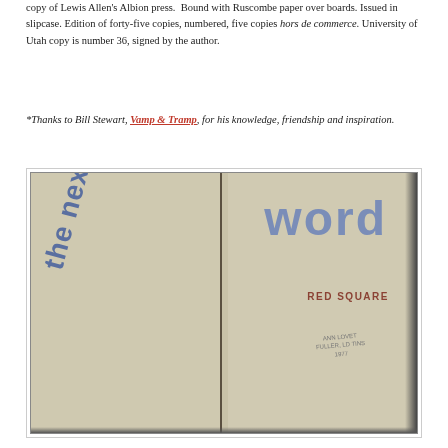copy of Lewis Allen's Albion press. Bound with Ruscombe paper over boards. Issued in slipcase. Edition of forty-five copies, numbered, five copies hors de commerce. University of Utah copy is number 36, signed by the author.
*Thanks to Bill Stewart, Vamp & Tramp, for his knowledge, friendship and inspiration.
[Figure (photo): Open book showing title page spread: left page has 'the next' printed diagonally in blue-gray, right page shows 'word' in large blue letters and 'RED SQUARE' in small red text below, with a small stamped text block. Pages are cream/tan colored.]